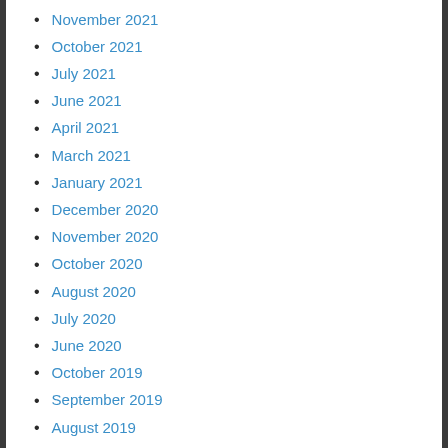November 2021
October 2021
July 2021
June 2021
April 2021
March 2021
January 2021
December 2020
November 2020
October 2020
August 2020
July 2020
June 2020
October 2019
September 2019
August 2019
July 2019
June 2019
May 2019
April 2019